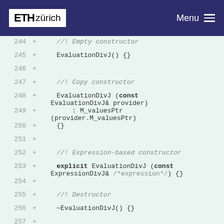ETH zürich  Menu
[Figure (screenshot): Code diff view showing lines 244-260 of a C++ file with added lines (+) on green background. Shows EvaluationDivJ class constructors and destructor: Empty constructor (line 245), Copy constructor (lines 248-250), Expression-based constructor (lines 253), Destructor (line 256), and closing comment //@} (line 258).]